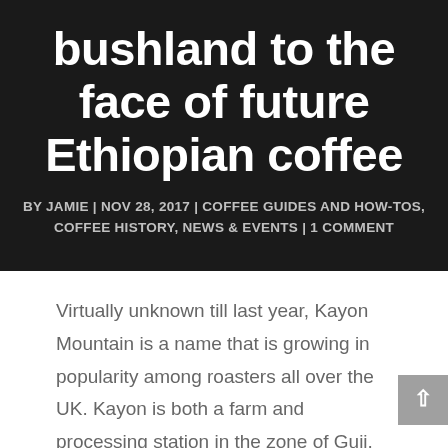bushland to the face of future Ethiopian coffee
BY JAMIE | NOV 28, 2017 | COFFEE GUIDES AND HOW-TOS, COFFEE HISTORY, NEWS & EVENTS | 1 COMMENT
Virtually unknown till last year, Kayon Mountain is a name that is growing in popularity among roasters all over the UK. Kayon is both a farm and processing station in the zone of Guji, in the Oromia region of Ethiopia, and it's reputation is well-deserved. The enterprise as a whole is young: the Hassen family got